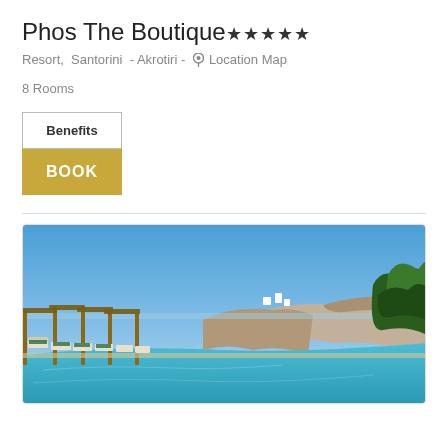Phos The Boutique★★★★★
Resort,  Santorini  - Akrotiri -  📍 Location Map
8 Rooms
Benefits
BOOK
[Figure (photo): Infinity pool overlooking Santorini caldera cliffs with wooden cabanas and loungers under clear blue sky]